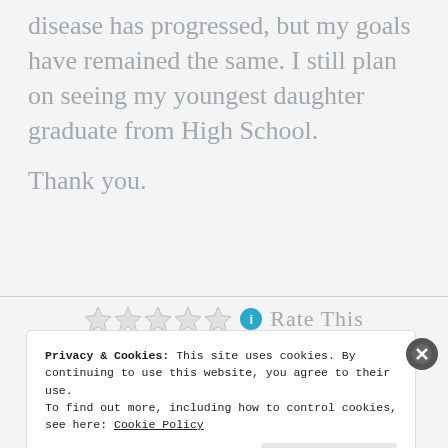disease has progressed, but my goals have remained the same. I still plan on seeing my youngest daughter graduate from High School.
Thank you.
[Figure (other): Star rating row with 5 empty stars, a teal info icon, and 'Rate This' text]
Privacy & Cookies: This site uses cookies. By continuing to use this website, you agree to their use. To find out more, including how to control cookies, see here: Cookie Policy
Close and accept